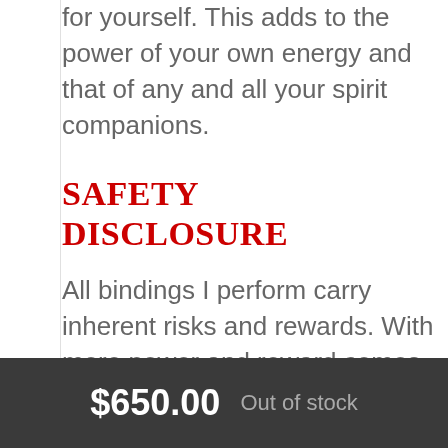for yourself. This adds to the power of your own energy and that of any and all your spirit companions.
Safety Disclosure
All bindings I perform carry inherent risks and rewards. With more power and reward comes more risk of paranormal manifestations and their intensity. This may be further exacerbated by your own history, including such factors as mental illness, drug use, or other personal factors I cannot r... the bindings performed.
$650.00  Out of stock